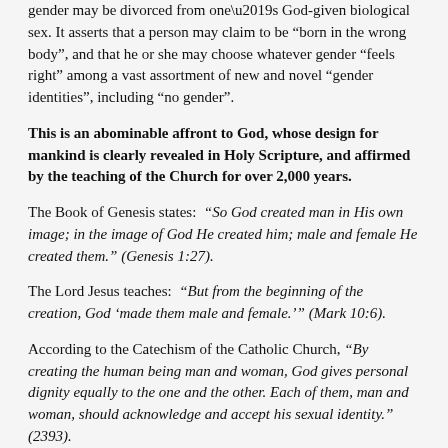gender may be divorced from one’s God-given biological sex. It asserts that a person may claim to be “born in the wrong body”, and that he or she may choose whatever gender “feels right” among a vast assortment of new and novel “gender identities”, including “no gender”.
This is an abominable affront to God, whose design for mankind is clearly revealed in Holy Scripture, and affirmed by the teaching of the Church for over 2,000 years.
The Book of Genesis states: “So God created man in His own image; in the image of God He created him; male and female He created them.” (Genesis 1:27).
The Lord Jesus teaches: “But from the beginning of the creation, God ‘made them male and female.’” (Mark 10:6).
According to the Catechism of the Catholic Church, “By creating the human being man and woman, God gives personal dignity equally to the one and the other. Each of them, man and woman, should acknowledge and accept his sexual identity.” (2393).